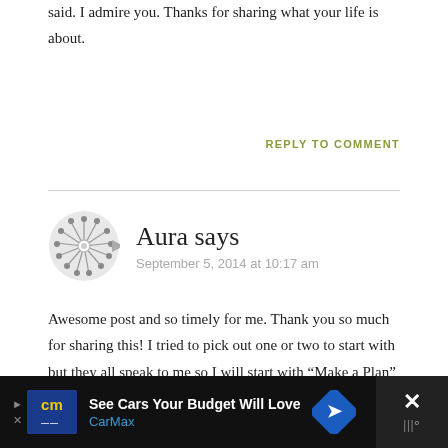said. I admire you. Thanks for sharing what your life is about.
REPLY TO COMMENT
Aura says
September 5, 2014 at 10:17 am
Awesome post and so timely for me. Thank you so much for sharing this! I tried to pick out one or two to start with but they all speak to me so I will start with “Make a Plan” and see where I go from there. Thank you again!
[Figure (other): CarMax advertisement banner at the bottom of the page with logo, tagline 'See Cars Your Budget Will Love', CarMax brand name, a blue diamond arrow icon, and a close button.]